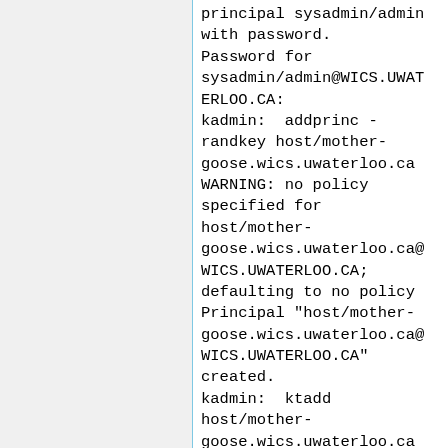principal sysadmin/admin
with password.
Password for
sysadmin/admin@WICS.UWATERLOO.CA:
kadmin:  addprinc -randkey host/mother-goose.wics.uwaterloo.ca
WARNING: no policy
specified for
host/mother-goose.wics.uwaterloo.ca@WICS.UWATERLOO.CA;
defaulting to no policy
Principal "host/mother-goose.wics.uwaterloo.ca@WICS.UWATERLOO.CA"
created.
kadmin:  ktadd
host/mother-goose.wics.uwaterloo.ca
Entry for principal
host/mother-goose.wics.uwaterloo.ca
with kvno 2, encryption